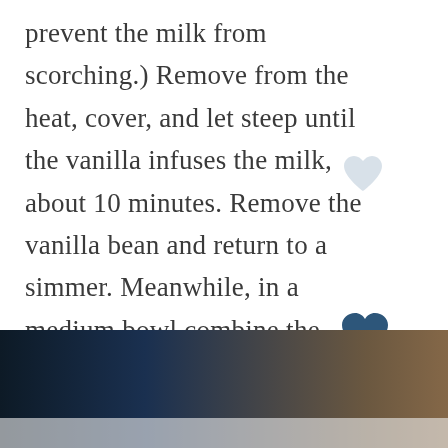prevent the milk from scorching.) Remove from the heat, cover, and let steep until the vanilla infuses the milk, about 10 minutes. Remove the vanilla bean and return to a simmer. Meanwhile, in a medium bowl combine the remaining sugar, flour, and salt. Gradually stir in the warm milk.
[Figure (photo): Photo of cooking ingredients — dark pan, wooden spoon with spices, ceramic bowl, on a light surface. Partially cropped at bottom.]